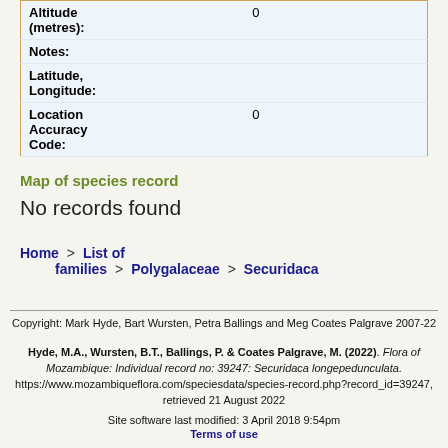| Field | Value |
| --- | --- |
| Altitude (metres): | 0 |
| Notes: |  |
| Latitude, Longitude: |  |
| Location Accuracy Code: | 0 |
Map of species record
No records found
Home > List of families > Polygalaceae > Securidaca
Copyright: Mark Hyde, Bart Wursten, Petra Ballings and Meg Coates Palgrave 2007-22
Hyde, M.A., Wursten, B.T., Ballings, P. & Coates Palgrave, M. (2022). Flora of Mozambique: Individual record no: 39247: Securidaca longepedunculata. https://www.mozambiqueflora.com/speciesdata/species-record.php?record_id=39247, retrieved 21 August 2022
Site software last modified: 3 April 2018 9:54pm
Terms of use